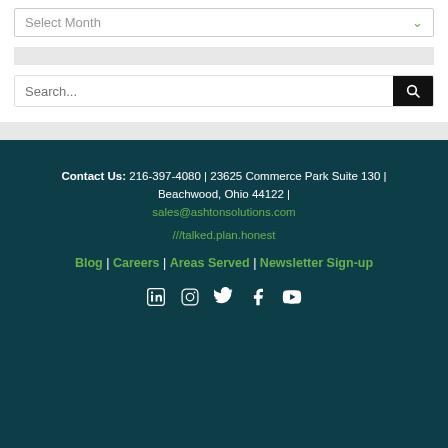Select Month
Search...
Contact Us: 216-397-4080 | 23625 Commerce Park Suite 130 | Beachwood, Ohio 44122 | sales@ashtonsolutions.com
///talked.plan.honest
Blog | Careers | Areas Served | Newsletter Sign-up
[Figure (other): Social media icons: LinkedIn, Instagram, Twitter, Facebook, YouTube]